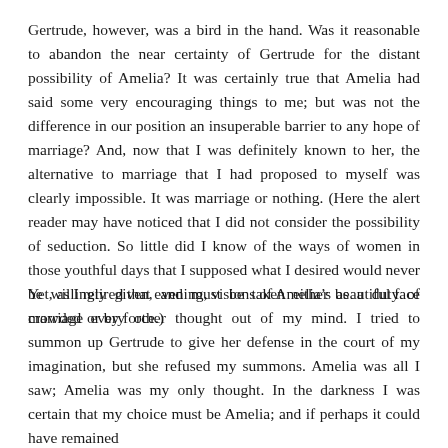Gertrude, however, was a bird in the hand. Was it reasonable to abandon the near certainty of Gertrude for the distant possibility of Amelia? It was certainly true that Amelia had said some very encouraging things to me; but was not the difference in our position an insuperable barrier to any hope of marriage? And, now that I was definitely known to her, the alternative to marriage that I had proposed to myself was clearly impossible. It was marriage or nothing. (Here the alert reader may have noticed that I did not consider the possibility of seduction. So little did I know of the ways of women in those youthful days that I supposed what I desired would never be willingly given, and must be taken either as a duty of marriage or by force.)
Yet, as I retired that evening, visions of Amelia’s beautiful face crowded every other thought out of my mind. I tried to summon up Gertrude to give her defense in the court of my imagination, but she refused my summons. Amelia was all I saw; Amelia was my only thought. In the darkness I was certain that my choice must be Amelia; and if perhaps it could have remained